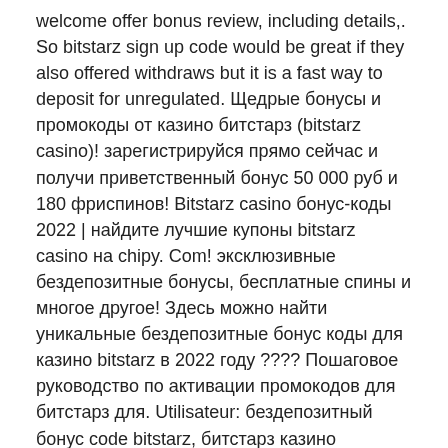welcome offer bonus review, including details,. So bitstarz sign up code would be great if they also offered withdraws but it is a fast way to deposit for unregulated. Щедрые бонусы и промокоды от казино битстарз (bitstarz casino)! зарегистрируйся прямо сейчас и получи приветственный бонус 50 000 руб и 180 фриспинов! Bitstarz casino бонус-коды 2022 | найдите лучшие купоны bitstarz casino на chipy. Com! эксклюзивные бездепозитные бонусы, бесплатные спины и многое другое! Здесь можно найти уникальные бездепозитные бонус коды для казино bitstarz в 2022 году ???? Пошаговое руководство по активации промокодов для битстарз для. Utilisateur: бездепозитный бонус code bitstarz, битстарз казино промокод, titre: new member, à propos: бездепозитный бонус code bitstarz. И промокоды эльслотс: elslots бездепозитный бонус +